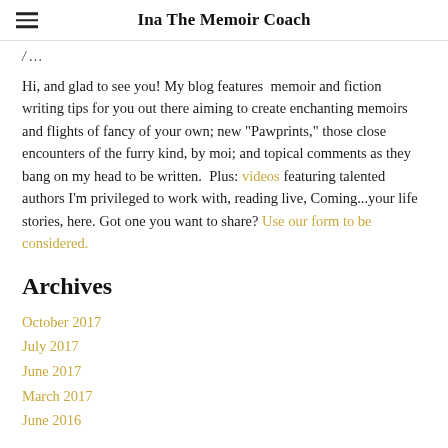Ina The Memoir Coach
Hi, and glad to see you! My blog features  memoir and fiction writing tips for you out there aiming to create enchanting memoirs and flights of fancy of your own; new "Pawprints," those close encounters of the furry kind, by moi; and topical comments as they bang on my head to be written.  Plus: videos featuring talented authors I'm privileged to work with, reading live, Coming...your life stories, here. Got one you want to share? Use our form to be considered.
Archives
October 2017
July 2017
June 2017
March 2017
June 2016